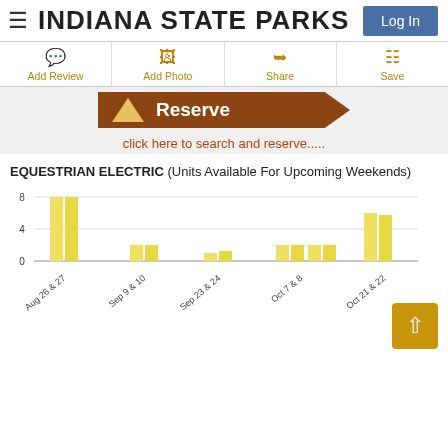INDIANA STATE PARKS
[Figure (screenshot): Navigation bar with Log In button and action items: Add Review, Add Photo, Share, Save]
[Figure (screenshot): Brown campsite reserve sign with triangle icon and text 'Reserve' with arrow shape]
click here to search and reserve.....
EQUESTRIAN ELECTRIC (Units Available For Upcoming Weekends)
[Figure (bar-chart): EQUESTRIAN ELECTRIC (Units Available For Upcoming Weekends)]